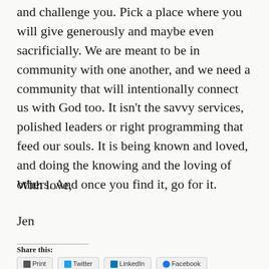and challenge you. Pick a place where you will give generously and maybe even sacrificially. We are meant to be in community with one another, and we need a community that will intentionally connect us with God too. It isn’t the savvy services, polished leaders or right programming that feed our souls. It is being known and loved, and doing the knowing and the loving of others. And once you find it, go for it.
With love,
Jen
Share this: